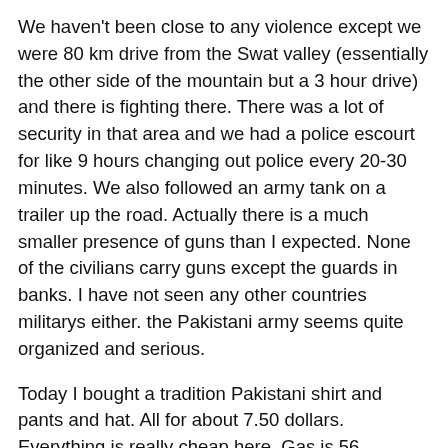We haven't been close to any violence except we were 80 km drive from the Swat valley (essentially the other side of the mountain but a 3 hour drive) and there is fighting there. There was a lot of security in that area and we had a police escourt for like 9 hours changing out police every 20-30 minutes. We also followed an army tank on a trailer up the road. Actually there is a much smaller presence of guns than I expected. None of the civilians carry guns except the guards in banks. I have not seen any other countries militarys either. the Pakistani army seems quite organized and serious.
Today I bought a tradition Pakistani shirt and pants and hat. All for about 7.50 dollars. Everything is really cheap here. Gas is 56 ruppees to the liter (80 ruppees to the dollar and 3.8 liters to the gallon).
The response people have when I tell them this is my first expedition is quite astonished. BP is probably harder than Everest they say. But everyone is very supportive. I explain basically why I made the leap and they understand. I wanted harder than Denali, Aconcagua, or Cho Oyu and is I'm going